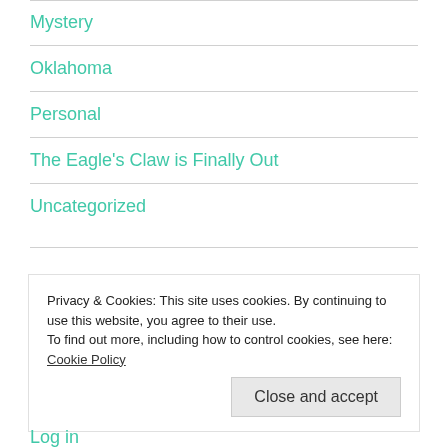Mystery
Oklahoma
Personal
The Eagle's Claw is Finally Out
Uncategorized
Privacy & Cookies: This site uses cookies. By continuing to use this website, you agree to their use.
To find out more, including how to control cookies, see here: Cookie Policy
Close and accept
Log in